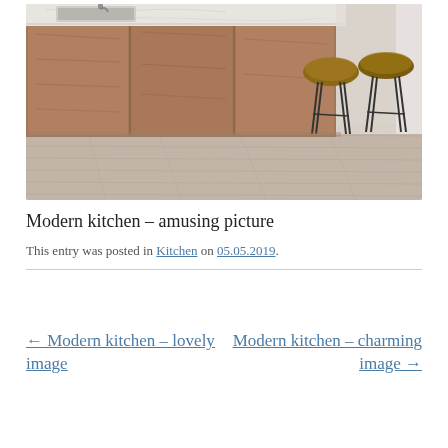[Figure (photo): Modern kitchen island with warm wood cabinet panels, white marble countertop, stainless sink, and two natural wood stools with black metal legs on light hardwood floor]
Modern kitchen – amusing picture
This entry was posted in Kitchen on 05.05.2019.
← Modern kitchen – lovely image
Modern kitchen – charming image →